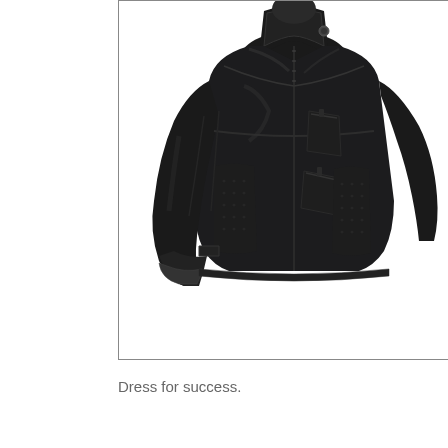[Figure (photo): Black leather motorcycle jacket displayed on a mannequin torso. The jacket features a band collar with a snap button, front zipper closure, chest pocket with zipper, lower angled zipper pockets, perforated leather panels on the lower front and sides, and stitched seam detailing on the sleeves. The jacket is photographed against a white background.]
Dress for success.